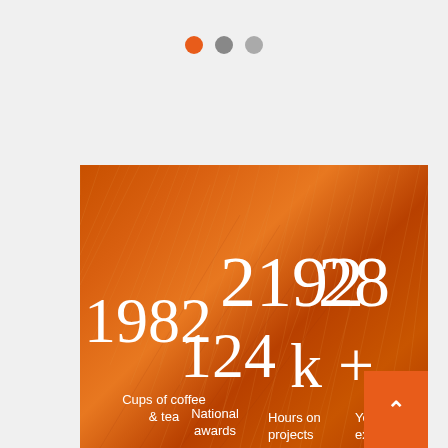[Figure (infographic): Three pagination dots: orange, dark gray, light gray]
[Figure (infographic): Orange-tinted pine needle background image with overlaid statistics: 1982, 2192, 28, 124, k+ — with labels Cups of coffee & tea, National awards, Hours on projects, Years of experience. Orange scroll-up button at bottom right.]